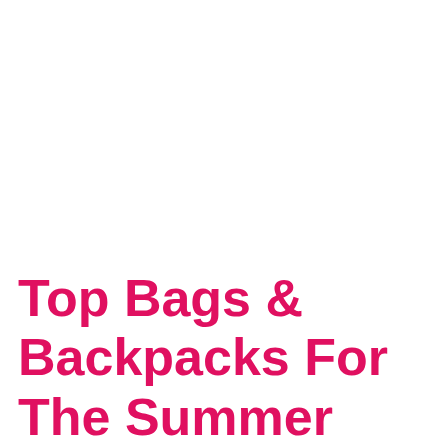Top Bags & Backpacks For The Summer